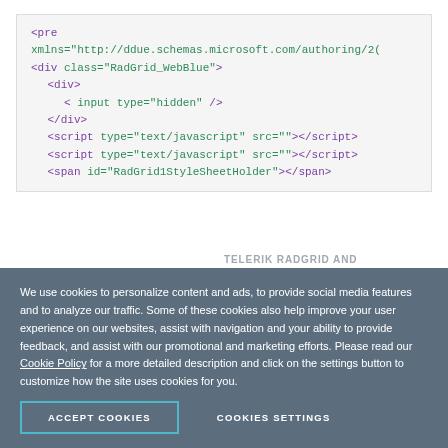[Figure (screenshot): Code block showing XML/HTML markup with pre tag, xmlns attribute, div with class RadGrid_WebBlue, input hidden, script tags with type text/javascript, and span with id RadGrid1StyleSheetHolder]
TELERIK RADGRID AND MASTERTABLEVIEW DEFINITION
We use cookies to personalize content and ads, to provide social media features and to analyze our traffic. Some of these cookies also help improve your user experience on our websites, assist with navigation and your ability to provide feedback, and assist with our promotional and marketing efforts. Please read our Cookie Policy for a more detailed description and click on the settings button to customize how the site uses cookies for you.
ACCEPT COOKIES
COOKIES SETTINGS